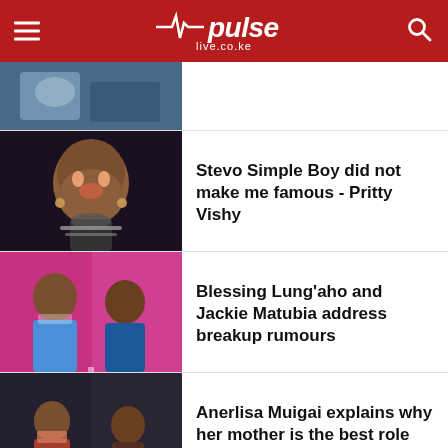pulse live.co.ke
[Figure (photo): Top partial news item thumbnail - woman with sewing machine]
[Figure (photo): Pritty Vishy smiling, bold makeup, choker necklace]
Stevo Simple Boy did not make me famous - Pritty Vishy
[Figure (photo): Blessing Lung'aho and Jackie Matubia posing together against pink background]
Blessing Lung'aho and Jackie Matubia address breakup rumours
[Figure (photo): Anerlisa Muigai and her mother posing together at an event]
Anerlisa Muigai explains why her mother is the best role model
[Figure (photo): Partial thumbnail of next news item]
Ansel Bake film...